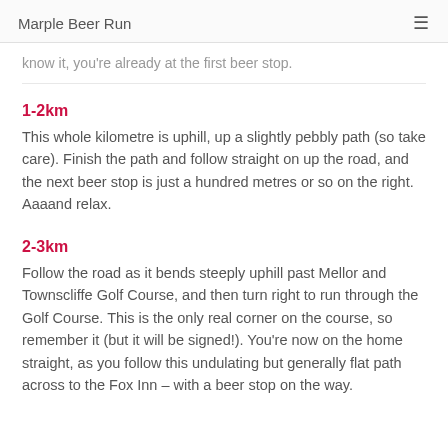Marple Beer Run
know it, you're already at the first beer stop.
1-2km
This whole kilometre is uphill, up a slightly pebbly path (so take care). Finish the path and follow straight on up the road, and the next beer stop is just a hundred metres or so on the right. Aaaand relax.
2-3km
Follow the road as it bends steeply uphill past Mellor and Townscliffe Golf Course, and then turn right to run through the Golf Course. This is the only real corner on the course, so remember it (but it will be signed!). You're now on the home straight, as you follow this undulating but generally flat path across to the Fox Inn – with a beer stop on the way.